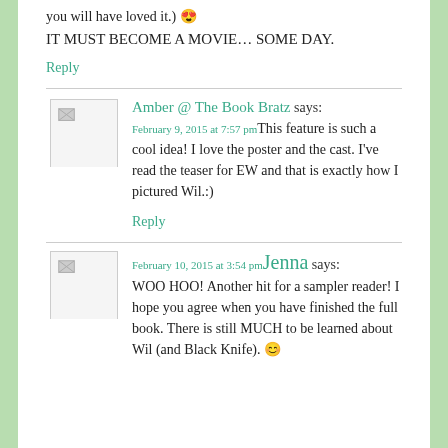you will have loved it.) 😍
IT MUST BECOME A MOVIE… SOME DAY.
Reply
Amber @ The Book Bratz says:
February 9, 2015 at 7:57 pmThis feature is such a cool idea! I love the poster and the cast. I've read the teaser for EW and that is exactly how I pictured Wil.:)
Reply
February 10, 2015 at 3:54 pmJenna says:
WOO HOO! Another hit for a sampler reader! I hope you agree when you have finished the full book. There is still MUCH to be learned about Wil (and Black Knife). 😊